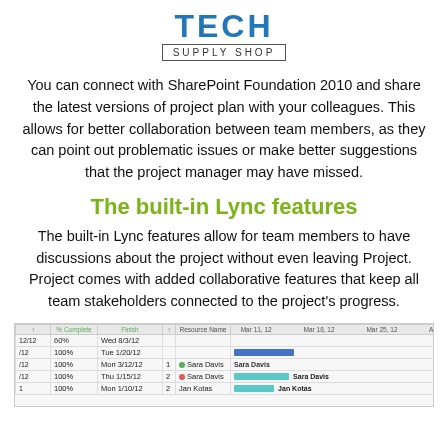TECH SUPPLY SHOP
You can connect with SharePoint Foundation 2010 and share the latest versions of project plan with your colleagues. This allows for better collaboration between team members, as they can point out problematic issues or make better suggestions that the project manager may have missed.
The built-in Lync features
The built-in Lync features allow for team members to have discussions about the project without even leaving Project. Project comes with added collaborative features that keep all team stakeholders connected to the project's progress.
[Figure (screenshot): Screenshot of Microsoft Project showing a Gantt chart with task list columns including % Complete and Finish dates, resource names (Sara Davis, Jan Kotas), and colored Gantt bars on a timeline from Mar 11 to Apr 1, 2012.]